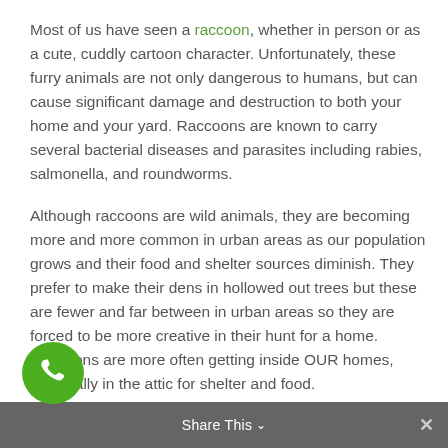Most of us have seen a raccoon, whether in person or as a cute, cuddly cartoon character. Unfortunately, these furry animals are not only dangerous to humans, but can cause significant damage and destruction to both your home and your yard. Raccoons are known to carry several bacterial diseases and parasites including rabies, salmonella, and roundworms.
Although raccoons are wild animals, they are becoming more and more common in urban areas as our population grows and their food and shelter sources diminish. They prefer to make their dens in hollowed out trees but these are fewer and far between in urban areas so they are forced to be more creative in their hunt for a home. Raccoons are more often getting inside OUR homes, especially in the attic for shelter and food.
Share This